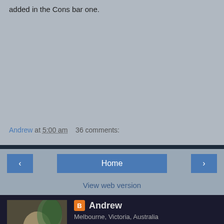added in the Cons bar one.
Andrew at 5:00 am   36 comments:
‹   Home   ›
View web version
[Figure (photo): Profile photo of Andrew]
Andrew
Melbourne, Victoria, Australia
I live in a highrise apartment building in inner Melbourne, Australia on black fella Boon Wurrung land with my male partner of 42 years.. My interests are varied but top of the list are old buildings, history and public transport. I love blogging and blogmates along with connections with people. My email is andrewhighriser at gmail.com